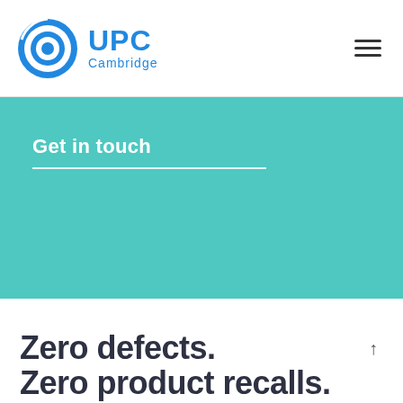UPC Cambridge
Get in touch
Zero defects. Zero product recalls.